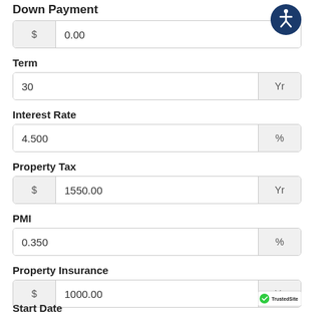Down Payment
$ 0.00
Term
30 Yr
Interest Rate
4.500 %
Property Tax
$ 1550.00 Yr
PMI
0.350 %
Property Insurance
$ 1000.00 Yr
Start Date